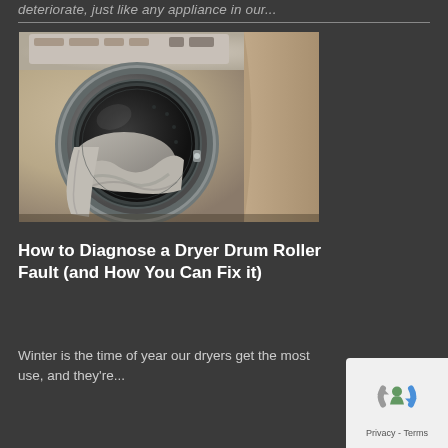deteriorate, just like any appliance in our...
[Figure (photo): Close-up photo of a front-loading washing machine or dryer door with laundry/towels visible inside the drum, metallic silver/gold tones]
How to Diagnose a Dryer Drum Roller Fault (and How You Can Fix it)
Winter is the time of year our dryers get the most use, and they're...
[Figure (logo): reCAPTCHA badge with blue and grey icon and Privacy - Terms text]